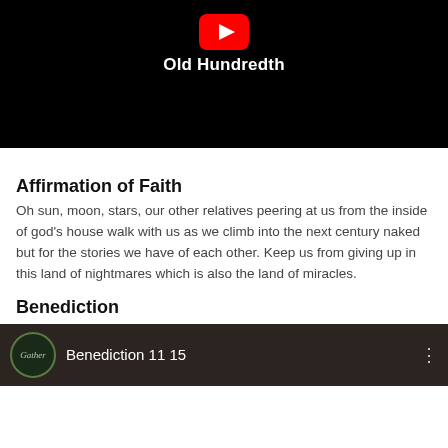[Figure (screenshot): YouTube video thumbnail with black background, red play button, and white bold text reading 'Old Hundredth']
Affirmation of Faith
Oh sun, moon, stars, our other relatives peering at us from the inside of god’s house walk with us as we climb into the next century naked but for the stories we have of each other. Keep us from giving up in this land of nightmares which is also the land of miracles.
Benediction
[Figure (screenshot): YouTube video thumbnail showing a dark brownish background with a circular 'Gather' logo on the left and the text 'Benediction 11 15' in white, with a three-dot menu icon on the right]